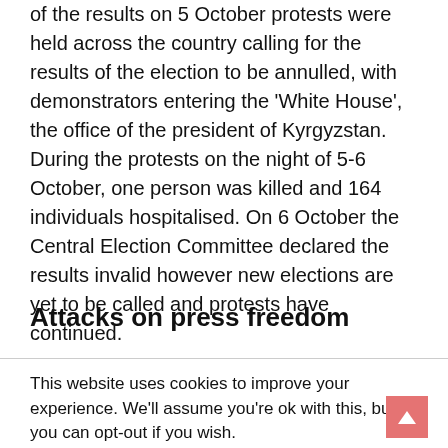of the results on 5 October protests were held across the country calling for the results of the election to be annulled, with demonstrators entering the 'White House', the office of the president of Kyrgyzstan. During the protests on the night of 5-6 October, one person was killed and 164 individuals hospitalised. On 6 October the Central Election Committee declared the results invalid however new elections are yet to be called and protests have continued.
Attacks on press freedom
This website uses cookies to improve your experience. We'll assume you're ok with this, but you can opt-out if you wish.
Cookie settings   ACCEPT   Privacy and Cookie Policy